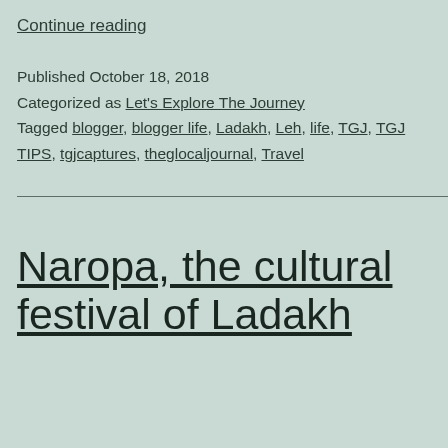Continue reading
Published October 18, 2018
Categorized as Let's Explore The Journey
Tagged blogger, blogger life, Ladakh, Leh, life, TGJ, TGJ TIPS, tgjcaptures, theglocaljournal, Travel
Naropa, the cultural festival of Ladakh